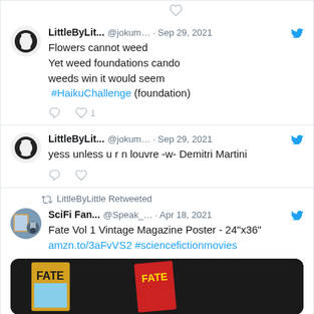[Figure (screenshot): Partial top of a tweet card (clipped at top of page)]
LittleByLit... @jokum... · Sep 29, 2021
Flowers cannot weed
Yet weed foundations cando
weeds win it would seem
#HaikuChallenge (foundation)
LittleByLit... @jokum... · Sep 29, 2021
yess unless u r n louvre -w- Demitri Martini
LittleByLtle Retweeted
SciFi Fan... @Speak_... · Apr 18, 2021
Fate Vol 1 Vintage Magazine Poster - 24"x36"
amzn.to/3aFvVS2 #sciencefictionmovies